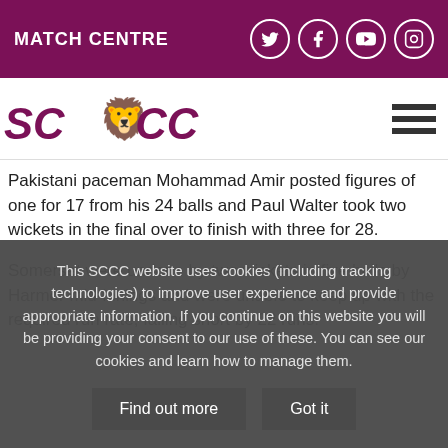MATCH CENTRE
[Figure (logo): SCCC cricket club logo with lion emblem]
Pakistani paceman Mohammad Amir posted figures of one for 17 from his 24 balls and Paul Walter took two wickets in the final over to finish with three for 28.
Somerset were undone by two wickets in five balls by Harmer mid-innings and were unable to keep up with the required run rate, falling short by 22 runs.
This SCCC website uses cookies (including tracking technologies) to improve user experience and provide appropriate information. If you continue on this website you will be providing your consent to our use of these. You can see our cookies and learn how to manage them.